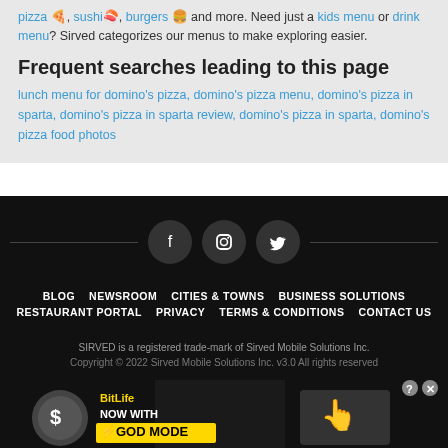pizza 🍕, sushi 🍣, burgers 🍔 and more. Need just a kids menu or drink menu? Sirved categorizes our menus to make exploring easier.
Frequent searches leading to this page
lunch menu for domino's pizza, domino's pizza menu, domino's pizza in sparta, domino's pizza in sparta review, domino's pizza in sparta, domino's pizza food photos
BLOG NEWSROOM CITIES & TOWNS BUSINESS SOLUTIONS RESTAURANT PORTAL PRIVACY TERMS & CONDITIONS CONTACT US
SIRVED is a registered trade-mark of Sirved Mobile Solutions Inc.
Copyright © 2022 Sirved Mobile Solutions Inc. v3.0 All rights reserved
[Figure (screenshot): BitLife advertisement banner: NOW WITH GOD MODE, with hand pointing graphic]